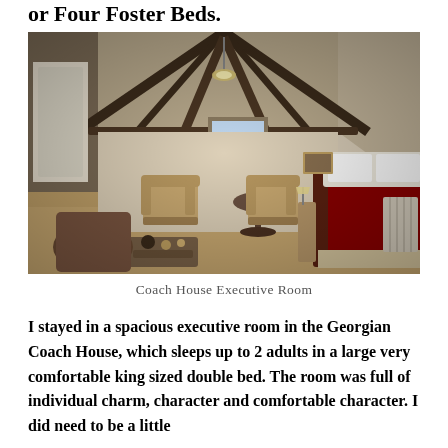or Four Foster Beds.
[Figure (photo): Interior of a Coach House Executive Room with exposed wooden beams in a vaulted ceiling, two armchairs, a round table, and a large bed with dark red bedspread on the right.]
Coach House Executive Room
I stayed in a spacious executive room in the Georgian Coach House, which sleeps up to 2 adults in a large very comfortable king sized double bed. The room was full of individual charm, character and comfortable character. I did need to be a little